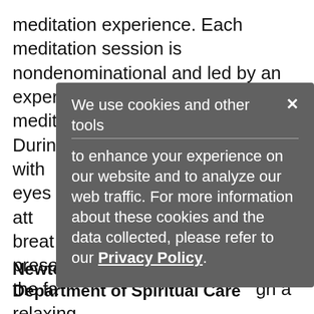meditation experience. Each meditation session is nondenominational and led by an experienced and formally trained meditation practitioner. During meditation, sit comfortably with eyes closed and bring your attention to your breath. Practices invite you to the present moment as the facilitator guides you through a relaxing practice. The facilitator will use some amount of speaking to guide the practice, some silence, and some gentle music.
We use cookies and other tools to enhance your experience on our website and to analyze our web traffic. For more information about these cookies and the data collected, please refer to our Privacy Policy.
Newton-Wellesley Hospital, Department of Spiritual Care